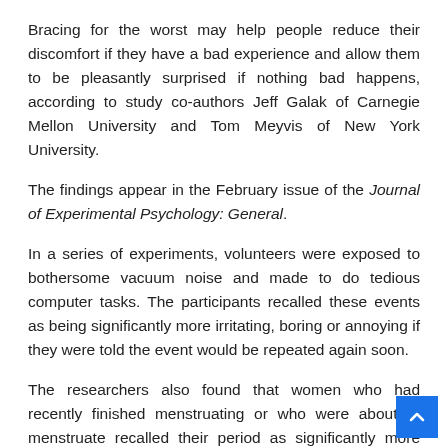Bracing for the worst may help people reduce their discomfort if they have a bad experience and allow them to be pleasantly surprised if nothing bad happens, according to study co-authors Jeff Galak of Carnegie Mellon University and Tom Meyvis of New York University.
The findings appear in the February issue of the Journal of Experimental Psychology: General.
In a series of experiments, volunteers were exposed to bothersome vacuum noise and made to do tedious computer tasks. The participants recalled these events as being significantly more irritating, boring or annoying if they were told the event would be repeated again soon.
The researchers also found that women who had recently finished menstruating or who were about to menstruate recalled their period as significantly more painful than women who were in the middle of their cycle.